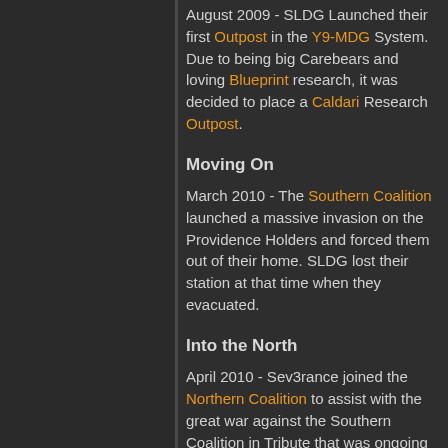August 2009 - SLDG Launched their first Outpost in the Y9-MDG System. Due to being big Carebears and loving Blueprint research, it was decided to place a Caldari Research Outpost.
Moving On
March 2010 - The Southern Coalition launched a massive invasion on the Providence Holders and forced them out of their home. SLDG lost their station at that time when they evacuated.
Into the North
April 2010 - Sev3rance joined the Northern Coalition to assist with the great war against the Southern Coalition in Tribute that was ongoing at that time.
Onto Pure Blind